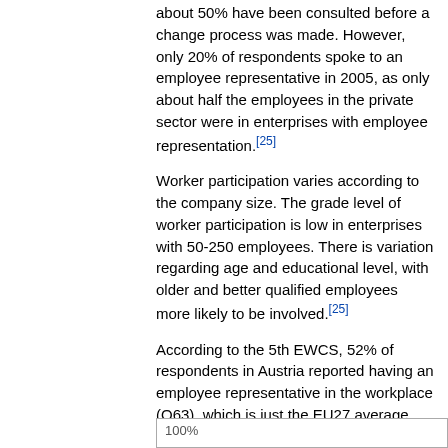about 50% have been consulted before a change process was made. However, only 20% of respondents spoke to an employee representative in 2005, as only about half the employees in the private sector were in enterprises with employee representation.[25]
Worker participation varies according to the company size. The grade level of worker participation is low in enterprises with 50-250 employees. There is variation regarding age and educational level, with older and better qualified employees more likely to be involved.[25]
According to the 5th EWCS, 52% of respondents in Austria reported having an employee representative in the workplace (Q63), which is just the EU27 average.
Figure 1: Worker representation in the EU member states and associated countries (Q63 of the 5th EWCS)
[Figure (bar-chart): Bar chart showing worker representation percentages in EU member states and associated countries (Q63 of 5th EWCS). Partially visible at bottom of page with 100% gridline visible.]